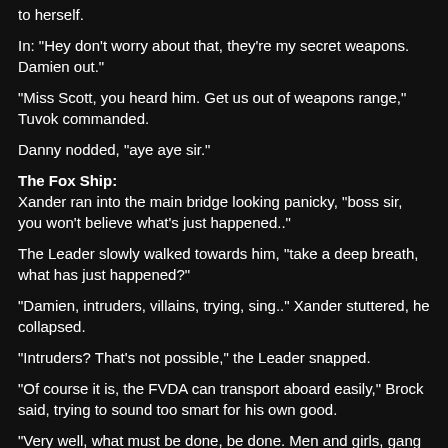to herself.
In: "Hey don't worry about that, they're my secret weapons. Damien out."
"Miss Scott, you heard him. Get us out of weapons range," Tuvok commanded.
Danny nodded, "aye aye sir."
The Fox Ship:
Xander ran into the main bridge looking panicky, "boss sir, you won't believe what's just happened.."
The Leader slowly walked towards him, "take a deep breath, what has just happened?"
"Damien, intruders, villains, trying, sing.." Xander stuttered, he collapsed.
"Intruders? That's not possible," the Leader snapped.
"Of course it is, the FVDA can transport aboard easily," Brock said, trying to sound too smart for his own good.
"Very well, what must be done, be done. Men and girls, gang up on those creeps and tear them apart," the Leader commanded.
The remaining TV characters ran out of the room, all stepping on Xander in the process.
Meanwhile: